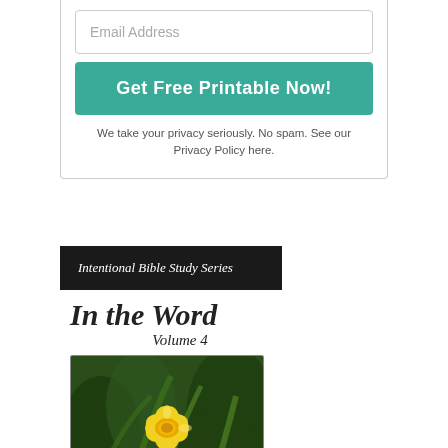[Figure (screenshot): Email address input field with placeholder text 'Email Address']
Get Free Printable Now!
We take your privacy seriously. No spam. See our Privacy Policy here.
[Figure (screenshot): Book cover widget: black banner 'Intentional Bible Study Series', script title 'In the Word', 'Volume 4', photo of yellow daffodil flower]
Guiding you through the